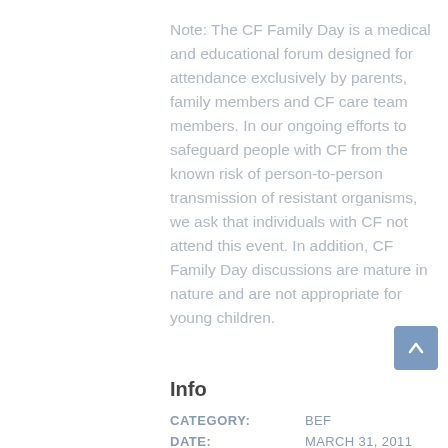Note: The CF Family Day is a medical and educational forum designed for attendance exclusively by parents, family members and CF care team members. In our ongoing efforts to safeguard people with CF from the known risk of person-to-person transmission of resistant organisms, we ask that individuals with CF not attend this event. In addition, CF Family Day discussions are mature in nature and are not appropriate for young children.
Info
| Field | Value |
| --- | --- |
| CATEGORY: | BEF |
| DATE: | MARCH 31, 2011 |